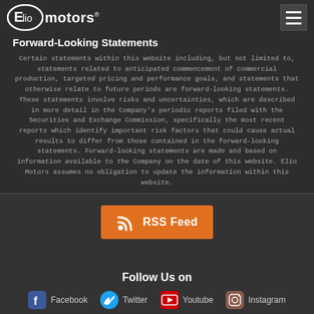[Figure (logo): Elio Motors logo with oval shape and brand text]
Forward-Looking Statements
Certain statements within this website including, but not limited to, statements related to anticipated commencement of commercial production, targeted pricing and performance goals, and statements that otherwise relate to future periods are forward-looking statements. These statements involve risks and uncertainties, which are described in more detail in the Company's periodic reports filed with the Securities and Exchange Commission, specifically the most recent reports which identify important risk factors that could cause actual results to differ from those contained in the forward-looking statements. Forward-looking statements are made and based on information available to the Company on the date of this website. Elio Motors assumes no obligation to update the information within this website.
[Figure (infographic): RSS Feed button with orange background and RSS icon]
Follow Us on
Facebook   Twitter   Youtube   Instagram